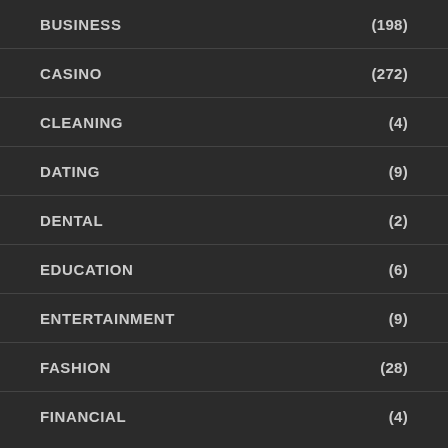BUSINESS (198)
CASINO (272)
CLEANING (4)
DATING (9)
DENTAL (2)
EDUCATION (6)
ENTERTAINMENT (9)
FASHION (28)
FINANCIAL (4)